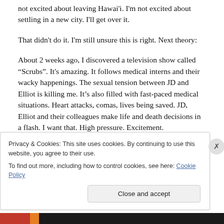not excited about leaving Hawai'i.  I'm not excited about settling in a new city.  I'll get over it.
That didn't do it.  I'm still unsure this is right.  Next theory:
About 2 weeks ago, I discovered a television show called “Scrubs”.  It's amazing.  It follows medical interns and their wacky happenings.  The sexual tension between JD and Elliot is killing me.  It’s also filled with fast-paced medical situations.  Heart attacks, comas, lives being saved.  JD, Elliot and their colleagues make life and death decisions in a flash.  I want that.  High pressure.  Excitement.
Privacy & Cookies: This site uses cookies. By continuing to use this website, you agree to their use.
To find out more, including how to control cookies, see here: Cookie Policy
Close and accept